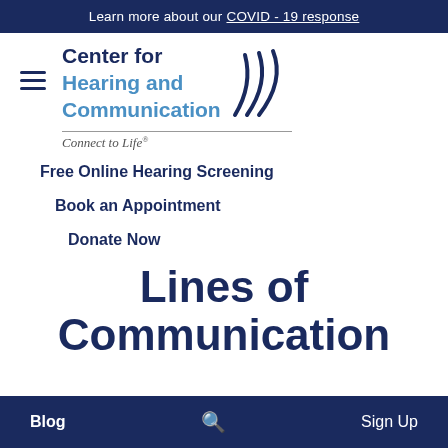Learn more about our COVID - 19 response
[Figure (logo): Center for Hearing and Communication logo with stylized sound waves and tagline 'Connect to Life®']
Free Online Hearing Screening
Book an Appointment
Donate Now
Lines of Communication
Blog  🔍  Sign Up